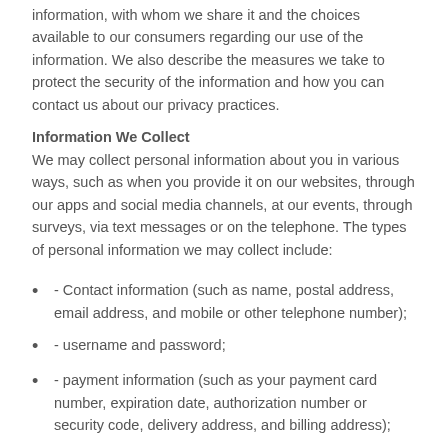information, with whom we share it and the choices available to our consumers regarding our use of the information. We also describe the measures we take to protect the security of the information and how you can contact us about our privacy practices.
Information We Collect
We may collect personal information about you in various ways, such as when you provide it on our websites, through our apps and social media channels, at our events, through surveys, via text messages or on the telephone. The types of personal information we may collect include:
- Contact information (such as name, postal address, email address, and mobile or other telephone number);
- username and password;
- payment information (such as your payment card number, expiration date, authorization number or security code, delivery address, and billing address);